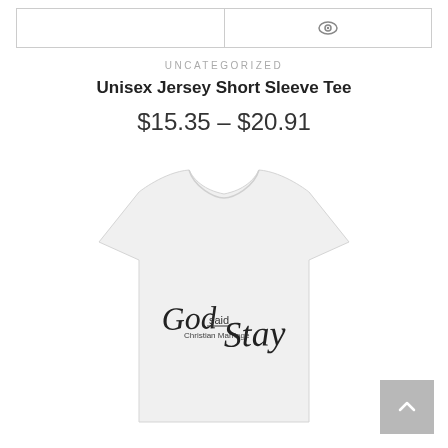[Figure (screenshot): Navigation bar with two sections and an eye icon on the right side]
UNCATEGORIZED
Unisex Jersey Short Sleeve Tee
$15.35 – $20.91
[Figure (photo): White unisex jersey short sleeve t-shirt with 'God said Stay Christian Marriage' printed in cursive black text on the front]